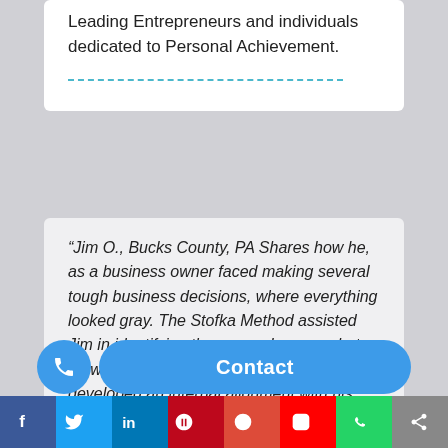Leading Entrepreneurs and individuals dedicated to Personal Achievement.
“Jim O., Bucks County, PA Shares how he, as a business owner faced making several tough business decisions, where everything looked gray. The Stofka Method assisted Jim in identifying the core values on what he wanted from work and a lifestyle, which developed an internal alignment with his goals as a b...